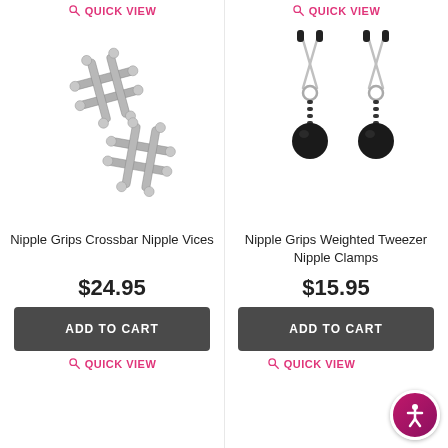QUICK VIEW
[Figure (photo): Nipple Grips Crossbar Nipple Vices product - two silver metallic crossbar/hashtag shaped clamps with ball ends]
Nipple Grips Crossbar Nipple Vices
$24.95
ADD TO CART
QUICK VIEW
QUICK VIEW
[Figure (photo): Nipple Grips Weighted Tweezer Nipple Clamps product - two silver tweezer-style clamps with black chain and black ball weights]
Nipple Grips Weighted Tweezer Nipple Clamps
$15.95
ADD TO CART
QUICK VIEW